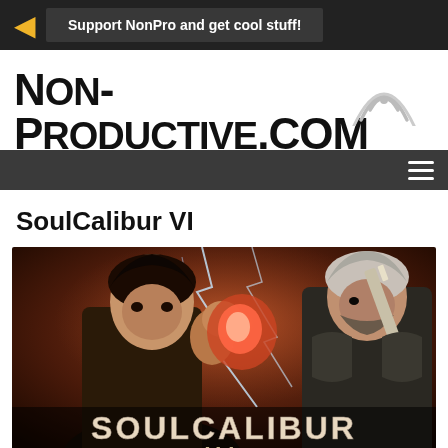Support NonPro and get cool stuff!
[Figure (logo): Non-Productive.com website logo with radio signal waves icon]
hamburger menu icon
SoulCalibur VI
[Figure (photo): SoulCalibur VI video game promotional art showing two warriors — a dark-haired fighter and a silver-haired warrior with a sword — with lightning effects and the SOULCALIBUR VI logo]